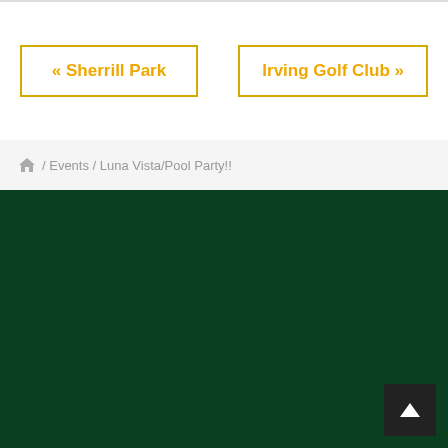« Sherrill Park
Irving Golf Club »
/ Events / Luna Vista/Pool Party!!
[Figure (other): Dark green footer background with back-to-top button in bottom right corner]